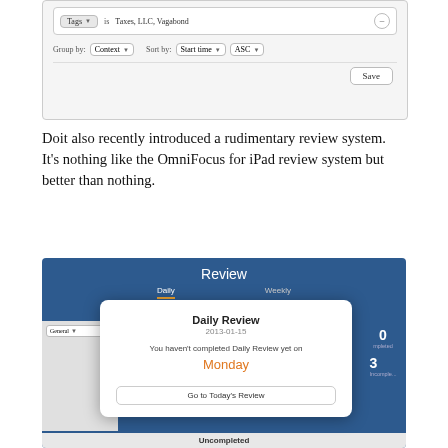[Figure (screenshot): App filter UI showing Tags field with 'Taxes, LLC, Vagabond', Group by Context, Sort by Start time ASC, and a Save button]
Doit also recently introduced a rudimentary review system. It’s nothing like the OmniFocus for iPad review system but better than nothing.
[Figure (screenshot): Review screen showing Daily/Weekly tabs, navigation row with Prev/Today(01/15-Tuesday)/Next, a General panel on the left, count numbers on the right, and an overlay modal card for Daily Review dated 2013-01-15 saying 'You haven’t completed Daily Review yet on Monday' with a 'Go to Today’s Review' button, and Uncompleted section at bottom]